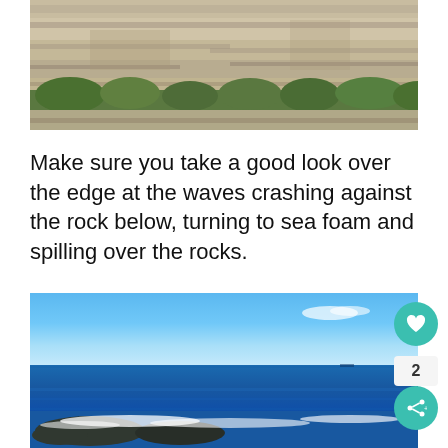[Figure (photo): Limestone cliff face with layered rock strata and green vegetation at the base, viewed from below against a white background]
Make sure you take a good look over the edge at the waves crashing against the rock below, turning to sea foam and spilling over the rocks.
[Figure (photo): Coastal ocean scene with vivid blue sky, blue sea water, and rocky shore with breaking waves in the foreground]